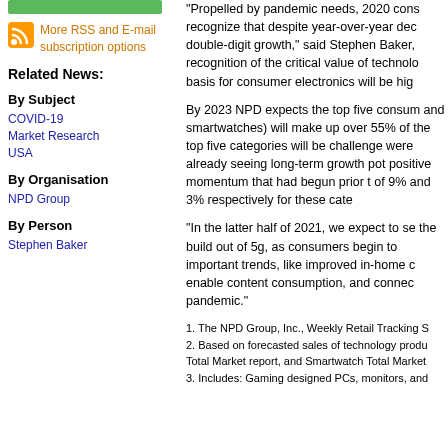[Figure (other): Green bar graphic at top of left column]
More RSS and E-mail subscription options
Related News:
By Subject
COVID-19
Market Research
USA
By Organisation
NPD Group
By Person
Stephen Baker
“Propelled by pandemic needs, 2020 cons recognize that despite year-over-year dec double-digit growth,” said Stephen Baker, recognition of the critical value of technolo basis for consumer electronics will be hig
By 2023 NPD expects the top five consum and smartwatches) will make up over 55% of the top five categories will be challenge were already seeing long-term growth pot positive momentum that had begun prior t of 9% and 3% respectively for these cate
“In the latter half of 2021, we expect to se the build out of 5g, as consumers begin to important trends, like improved in-home c enable content consumption, and connec pandemic.”
1. The NPD Group, Inc., Weekly Retail Tracking S
2. Based on forecasted sales of technology produ Total Market report, and Smartwatch Total Market
3. Includes: Gaming designed PCs, monitors, and